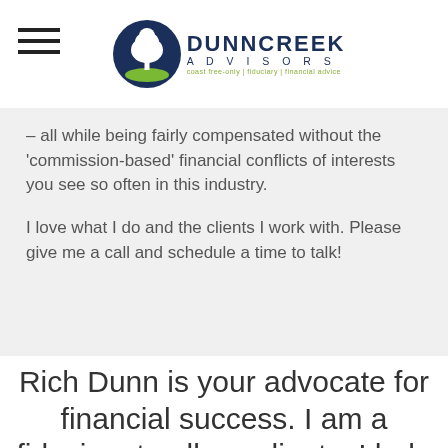[Figure (logo): Dunncreek Advisors logo with tree icon and tagline: coast free-only | fiduciary | financial advice]
– all while being fairly compensated without the 'commission-based' financial conflicts of interests you see so often in this industry.

I love what I do and the clients I work with. Please give me a call and schedule a time to talk!
Rich Dunn is your advocate for financial success. I am a fiduciary to all my clients. I help clients make a smooth transition from working for a living to